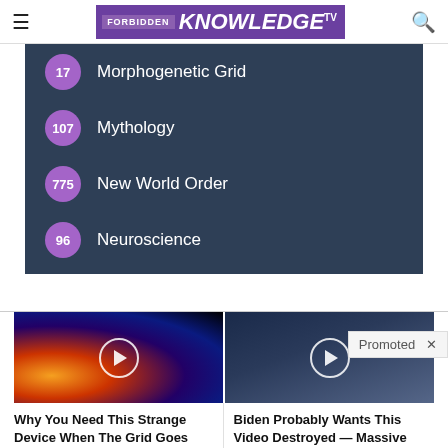Forbidden Knowledge TV
17 Morphogenetic Grid
107 Mythology
775 New World Order
96 Neuroscience
Promoted ×
[Figure (screenshot): Video thumbnail: space/solar magnetic field visualization with play button]
[Figure (screenshot): Video thumbnail: man speaking at NYSE with play button]
Why You Need This Strange Device When The Grid Goes Down
Watch The Video
Biden Probably Wants This Video Destroyed — Massive Currency Upheaval Has Started
Watch The Video